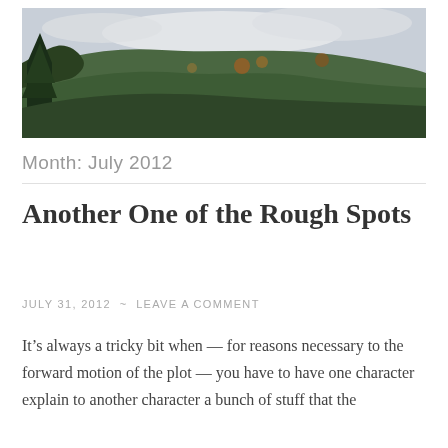[Figure (photo): A landscape photograph showing a forested hillside with autumn foliage, evergreen trees in the foreground left, and a cloudy sky above.]
Month: July 2012
Another One of the Rough Spots
JULY 31, 2012  ~  LEAVE A COMMENT
It’s always a tricky bit when — for reasons necessary to the forward motion of the plot — you have to have one character explain to another character a bunch of stuff that the